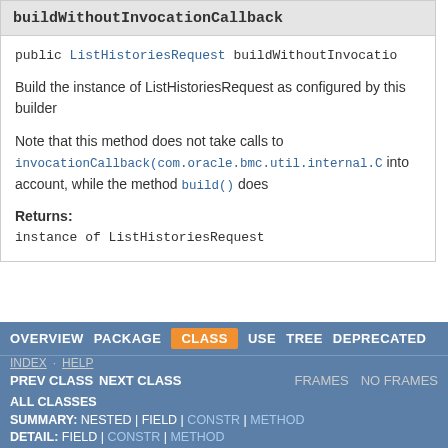buildWithoutInvocationCallback
public ListHistoriesRequest buildWithoutInvocatio...
Build the instance of ListHistoriesRequest as configured by this builder
Note that this method does not take calls to invocationCallback(com.oracle.bmc.util.internal.C... into account, while the method build() does
Returns:
instance of ListHistoriesRequest
OVERVIEW   PACKAGE   CLASS   USE   TREE   DEPRECATED   INDEX   HELP   PREV CLASS   NEXT CLASS   FRAMES   NO FRAMES   ALL CLASSES   SUMMARY: NESTED | FIELD | CONSTR | METHOD   DETAIL: FIELD | CONSTR | METHOD